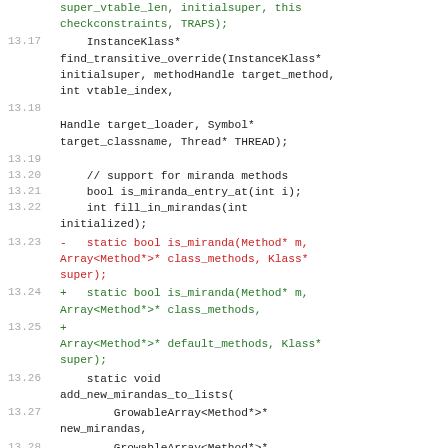[Figure (screenshot): Code diff showing C++ source lines 13.17 through 13.29, with removed lines in red and added lines in green, and unchanged lines in dark text.]